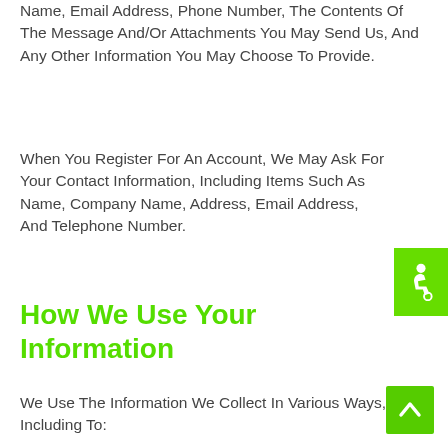Name, Email Address, Phone Number, The Contents Of The Message And/Or Attachments You May Send Us, And Any Other Information You May Choose To Provide.
When You Register For An Account, We May Ask For Your Contact Information, Including Items Such As Name, Company Name, Address, Email Address, And Telephone Number.
How We Use Your Information
We Use The Information We Collect In Various Ways, Including To:
[Figure (other): Green accessibility icon button on the right side of the page]
[Figure (other): Green back-to-top arrow button on the bottom right]